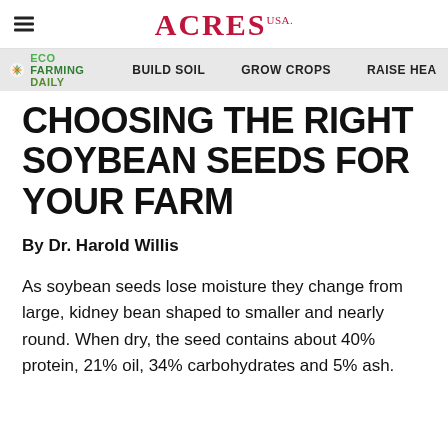ACRES USA
ECO FARMING DAILY  BUILD SOIL  GROW CROPS  RAISE HEA
CHOOSING THE RIGHT SOYBEAN SEEDS FOR YOUR FARM
By Dr. Harold Willis
As soybean seeds lose moisture they change from large, kidney bean shaped to smaller and nearly round. When dry, the seed contains about 40% protein, 21% oil, 34% carbohydrates and 5% ash.